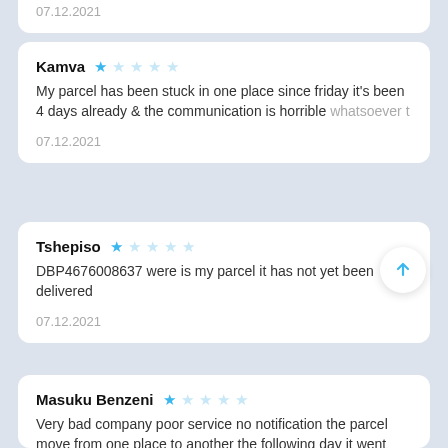07.12.2021
Kamva — 1 star review
My parcel has been stuck in one place since friday it's been 4 days already & the communication is horrible whatsoever t
07.12.2021
Tshepiso — 1 star review
DBP4676008637 were is my parcel it has not yet been delivered
07.12.2021
Masuku Benzeni — 1 star review
Very bad company poor service no notification the parcel move from one place to another the following day it went somewhere else my parcel the whole of china from there it
06.12.2021